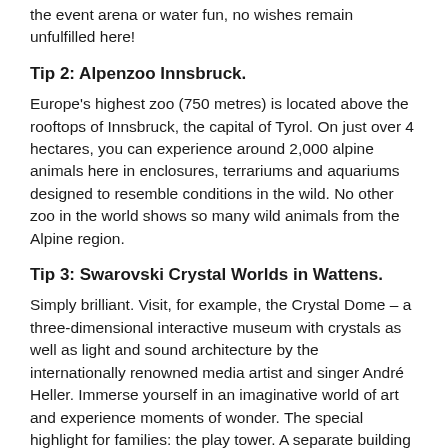the event arena or water fun, no wishes remain unfulfilled here!
Tip 2: Alpenzoo Innsbruck.
Europe's highest zoo (750 metres) is located above the rooftops of Innsbruck, the capital of Tyrol. On just over 4 hectares, you can experience around 2,000 alpine animals here in enclosures, terrariums and aquariums designed to resemble conditions in the wild. No other zoo in the world shows so many wild animals from the Alpine region.
Tip 3: Swarovski Crystal Worlds in Wattens.
Simply brilliant. Visit, for example, the Crystal Dome – a three-dimensional interactive museum with crystals as well as light and sound architecture by the internationally renowned media artist and singer André Heller. Immerse yourself in an imaginative world of art and experience moments of wonder. The special highlight for families: the play tower. A separate building where both adults and children can store their belongings, put on play socks and then throw themselves into an adventure. Warning: mum and dad also become kids again here. Jumping and sliding like you've never seen before!
All information about these and many other offers is available